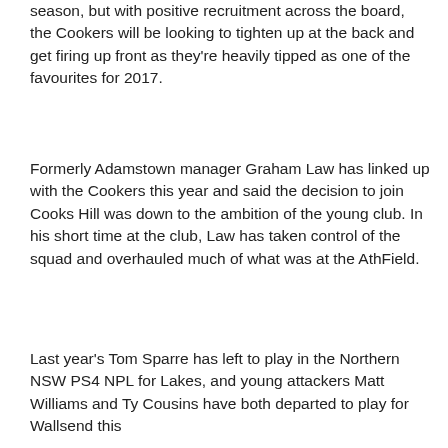season, but with positive recruitment across the board, the Cookers will be looking to tighten up at the back and get firing up front as they're heavily tipped as one of the favourites for 2017.
Formerly Adamstown manager Graham Law has linked up with the Cookers this year and said the decision to join Cooks Hill was down to the ambition of the young club. In his short time at the club, Law has taken control of the squad and overhauled much of what was at the AthField.
Last year's Tom Sparre has left to play in the Northern NSW PS4 NPL for Lakes, and young attackers Matt Williams and Ty Cousins have both departed to play for Wallsend this season. The list of players currently contracted